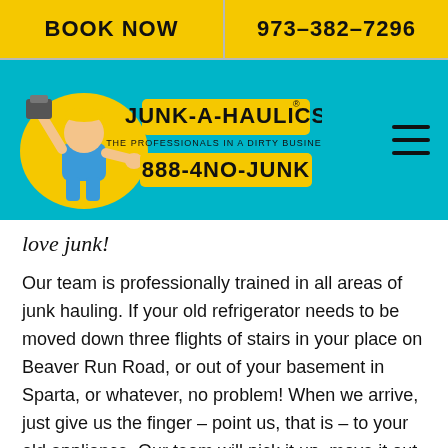BOOK NOW | 973-382-7296
[Figure (logo): Junk-A-Haulics logo with cartoon man holding junk, yellow text on teal background, phone number 888-4NO-JUNK]
love junk!
Our team is professionally trained in all areas of junk hauling. If your old refrigerator needs to be moved down three flights of stairs in your place on Beaver Run Road, or out of your basement in Sparta, or whatever, no problem! When we arrive, just give us the finger – point us, that is – to your old appliance. Our team will pick it up, move it out to one of our company branded trucks, and get it recycled. We've